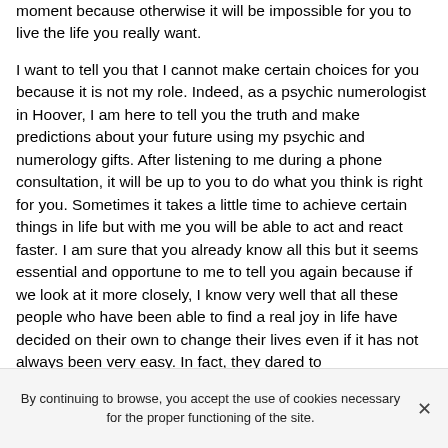moment because otherwise it will be impossible for you to live the life you really want.
I want to tell you that I cannot make certain choices for you because it is not my role. Indeed, as a psychic numerologist in Hoover, I am here to tell you the truth and make predictions about your future using my psychic and numerology gifts. After listening to me during a phone consultation, it will be up to you to do what you think is right for you. Sometimes it takes a little time to achieve certain things in life but with me you will be able to act and react faster. I am sure that you already know all this but it seems essential and opportune to me to tell you again because if we look at it more closely, I know very well that all these people who have been able to find a real joy in life have decided on their own to change their lives even if it has not always been very easy. In fact, they dared to
By continuing to browse, you accept the use of cookies necessary for the proper functioning of the site.